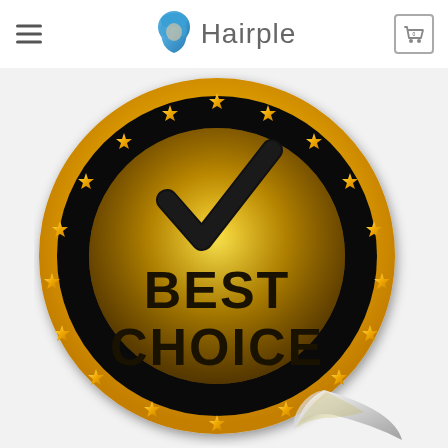Hairple
[Figure (logo): Hairple website header logo with blue hair silhouette icon and the text Hairple in gray, hamburger menu on left, cart icon with 0 on right]
[Figure (illustration): Gold and black Best Choice award badge/sticker with stars around border, checkmark at top, text BEST CHOICE in bold black letters, with a curled corner at bottom right giving a peel effect]